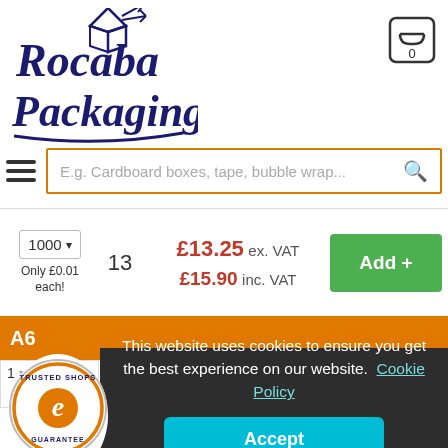[Figure (logo): Rocaba Packaging logo in dark navy italic script with a flying box graphic]
[Figure (illustration): Shopping cart icon with badge showing 0]
[Figure (other): Hamburger menu icon (three horizontal lines)]
E.g. Cardboard boxes, tape, bubble wrap...
1000 ▾  13  £13.25 ex. VAT  £15.90 inc. VAT  Add +  Only £0.01 each!
A6
This website uses cookies to ensure you get the best experience on our website. Cookie Policy
Accept
[Figure (logo): Trusted Shops e guarantee badge with star rating 4.84]